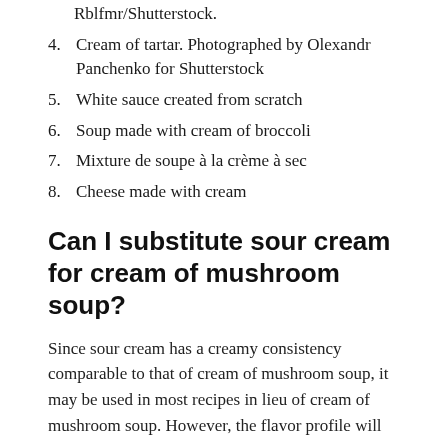Rblfmr/Shutterstock.
4. Cream of tartar. Photographed by Olexandr Panchenko for Shutterstock
5. White sauce created from scratch
6. Soup made with cream of broccoli
7. Mixture de soupe à la crème à sec
8. Cheese made with cream
Can I substitute sour cream for cream of mushroom soup?
Since sour cream has a creamy consistency comparable to that of cream of mushroom soup, it may be used in most recipes in lieu of cream of mushroom soup. However, the flavor profile will